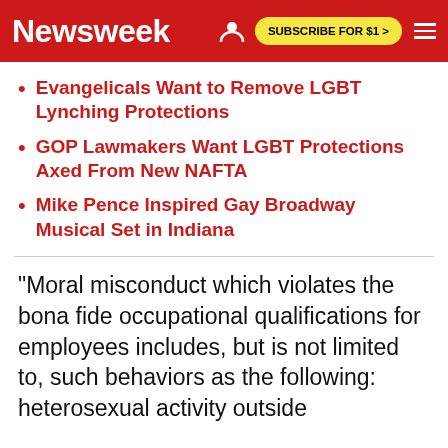Newsweek
Evangelicals Want to Remove LGBT Lynching Protections
GOP Lawmakers Want LGBT Protections Axed From New NAFTA
Mike Pence Inspired Gay Broadway Musical Set in Indiana
"Moral misconduct which violates the bona fide occupational qualifications for employees includes, but is not limited to, such behaviors as the following: heterosexual activity outside of marriage; homosexual activity; cohabitation;